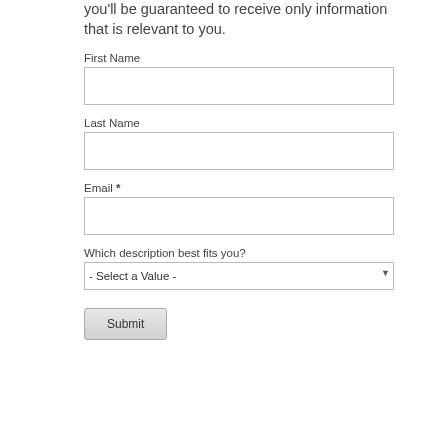you'll be guaranteed to receive only information that is relevant to you.
First Name
Last Name
Email *
Which description best fits you?
- Select a Value -
Submit